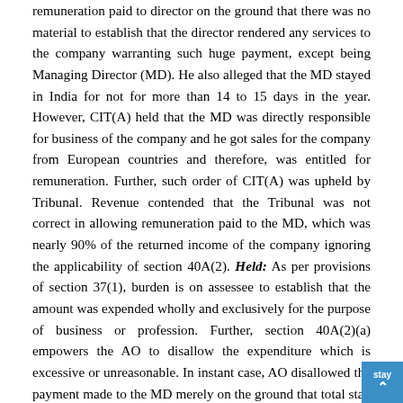remuneration paid to director on the ground that there was no material to establish that the director rendered any services to the company warranting such huge payment, except being Managing Director (MD). He also alleged that the MD stayed in India for not for more than 14 to 15 days in the year. However, CIT(A) held that the MD was directly responsible for business of the company and he got sales for the company from European countries and therefore, was entitled for remuneration. Further, such order of CIT(A) was upheld by Tribunal. Revenue contended that the Tribunal was not correct in allowing remuneration paid to the MD, which was nearly 90% of the returned income of the company ignoring the applicability of section 40A(2). Held: As per provisions of section 37(1), burden is on assessee to establish that the amount was expended wholly and exclusively for the purpose of business or profession. Further, section 40A(2)(a) empowers the AO to disallow the expenditure which is excessive or unreasonable. In instant case, AO disallowed the payment made to the MD merely on the ground that total stay of the MD in India was for a period 14 to 15 days in the year. Further, and finally held have contended that the CIT(A) and the